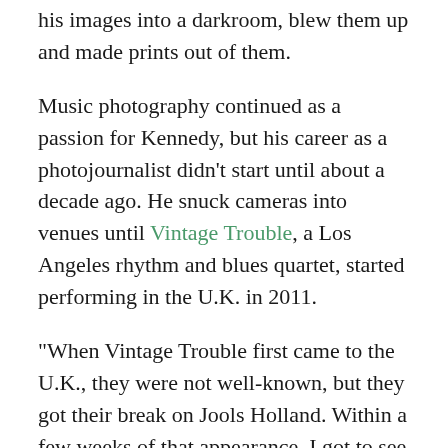his images into a darkroom, blew them up and made prints out of them.
Music photography continued as a passion for Kennedy, but his career as a photojournalist didn't start until about a decade ago. He snuck cameras into venues until Vintage Trouble, a Los Angeles rhythm and blues quartet, started performing in the U.K. in 2011.
“When Vintage Trouble first came to the U.K., they were not well-known, but they got their break on Jools Holland. Within a few weeks of that appearance, I got to see them perform here at a local festival, and I connected with them there. We became friends, and they allowed me to shoot their shows,” said Kennedy, who’s also the official photographer at the Newcastle Rock and Blues